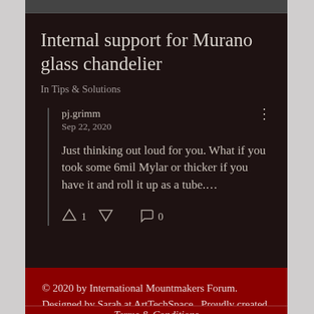Internal support for Murano glass chandelier
In Tips & Solutions
pj.grimm
Sep 22, 2020
Just thinking out loud for you. What if you took some 6mil Mylar or thicker if you have it and roll it up as a tube....
© 2020 by International Mountmakers Forum. Designed by Sarah at ArtTechSpace.  Proudly created with Wix.com
Terms & Conditions